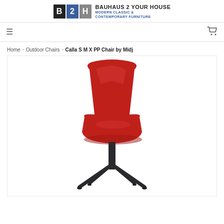[Figure (logo): Bauhaus 2 Your House logo with B, 2, H blocks and text BAUHAUS 2 YOUR HOUSE / MODERN CLASSIC & CONTEMPORARY FURNITURE]
Navigation bar with hamburger menu icon and cart icon
Home › Outdoor Chairs › Calla S M X PP Chair by Midj
[Figure (photo): Red Calla S M X PP Chair by Midj with black metal base, shown on white background]